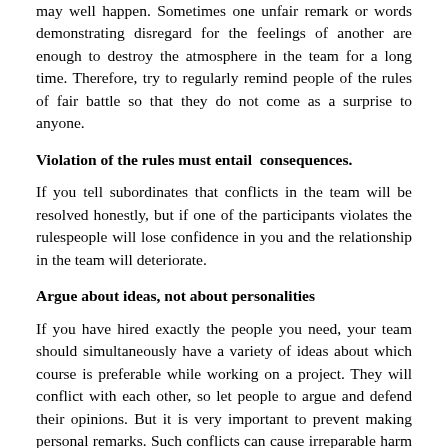may well happen. Sometimes one unfair remark or words demonstrating disregard for the feelings of another are enough to destroy the atmosphere in the team for a long time. Therefore, try to regularly remind people of the rules of fair battle so that they do not come as a surprise to anyone.
Violation of the rules must entail consequences.
If you tell subordinates that conflicts in the team will be resolved honestly, but if one of the participants violates the rulespeople will lose confidence in you and the relationship in the team will deteriorate.
Argue about ideas, not about personalities
If you have hired exactly the people you need, your team should simultaneously have a variety of ideas about which course is preferable while working on a project. They will conflict with each other, so let people to argue and defend their opinions. But it is very important to prevent making personal remarks. Such conflicts can cause irreparable harm to the team, and your task as a leader is to ensure